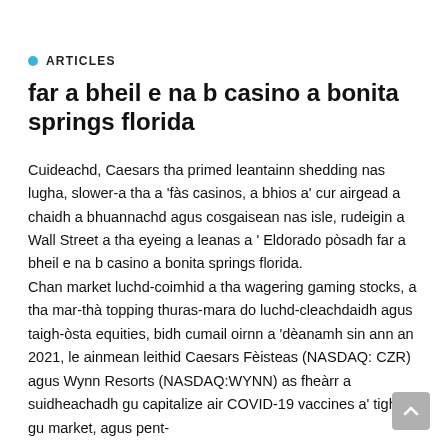ARTICLES
far a bheil e na b casino a bonita springs florida
Cuideachd, Caesars tha primed leantainn shedding nas lugha, slower-a tha a 'fàs casinos, a bhios a' cur airgead a chaidh a bhuannachd agus cosgaisean nas isle, rudeigin a Wall Street a tha eyeing a leanas a ' Eldorado pòsadh far a bheil e na b casino a bonita springs florida.
Chan market luchd-coimhid a tha wagering gaming stocks, a tha mar-thà topping thuras-mara do luchd-cleachdaidh agus taigh-òsta equities, bidh cumail oirnn a 'dèanamh sin ann an 2021, le ainmean leithid Caesars Fèisteas (NASDAQ: CZR) agus Wynn Resorts (NASDAQ:WYNN) as fheàrr a suidheachadh gu capitalize air COVID-19 vaccines a' tighinn gu market, agus pent-